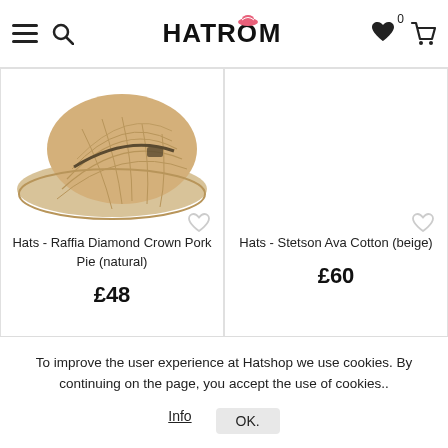HATROOM
[Figure (photo): Straw raffia cowboy/pork pie hat viewed from above, natural tan color with woven texture]
Hats - Raffia Diamond Crown Pork Pie (natural)
£48
[Figure (photo): Empty white product image area for Stetson Ava Cotton beige hat]
Hats - Stetson Ava Cotton (beige)
£60
To improve the user experience at Hatshop we use cookies. By continuing on the page, you accept the use of cookies..
Info
OK.